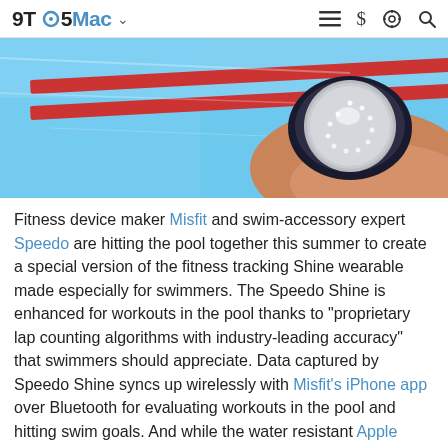9TO5Mac
[Figure (photo): Close-up photo of a person's wrist wearing a circular silver fitness tracker (Misfit Shine) with a dark band, near a swimming pool with blue water and red lane dividers visible in the background.]
Fitness device maker Misfit and swim-accessory expert Speedo are hitting the pool together this summer to create a special version of the fitness tracking Shine wearable made especially for swimmers. The Speedo Shine is enhanced for workouts in the pool thanks to "proprietary lap counting algorithms with industry-leading accuracy" that swimmers should appreciate. Data captured by Speedo Shine syncs up wirelessly with Misfit's iPhone app over Bluetooth for evaluating workouts in the pool and hitting swim goals. And while the water resistant Apple Watch with non-leather bands plays nice with some water, Speedo Shine is made with swimmers in mind and waterproofed to 50 meters.